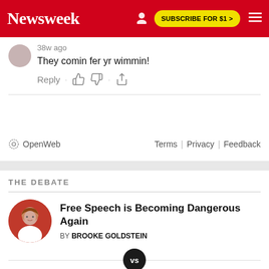Newsweek  SUBSCRIBE FOR $1 >
38w ago
They comin fer yr wimmin!
Reply  ·  👍  👎  ·  ↑
[Figure (logo): OpenWeb logo with gear icon]
Terms  |  Privacy  |  Feedback
THE DEBATE
[Figure (photo): Author photo of Brooke Goldstein, circular crop with red background]
Free Speech is Becoming Dangerous Again
BY BROOKE GOLDSTEIN
We're Living in Age of Unparalleled Free Speech